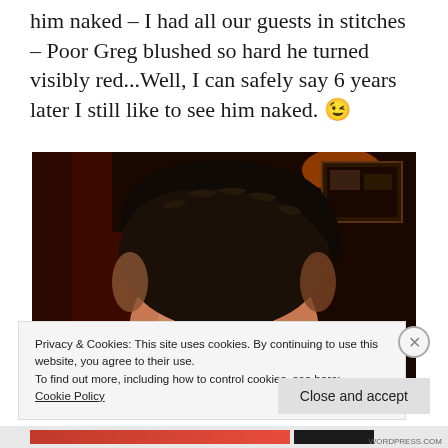him naked – I had all our guests in stitches – Poor Greg blushed so hard he turned visibly red...Well, I can safely say 6 years later I still like to see him naked. 😉
[Figure (photo): Close-up photograph of a man's face and hair in a dimly lit indoor setting with dark red/brown background. The forehead and dark curly hair are prominent. Very dark, moody lighting.]
Privacy & Cookies: This site uses cookies. By continuing to use this website, you agree to their use.
To find out more, including how to control cookies, see here:
Cookie Policy
Close and accept